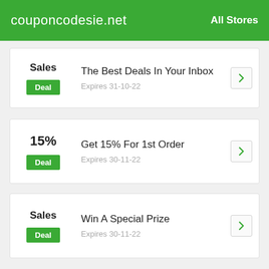couponcodesie.net   All Stores
Sales | Deal | The Best Deals In Your Inbox | Expires 31-10-22
15% | Deal | Get 15% For 1st Order | Expires 30-11-22
Sales | Deal | Win A Special Prize | Expires 30-11-22